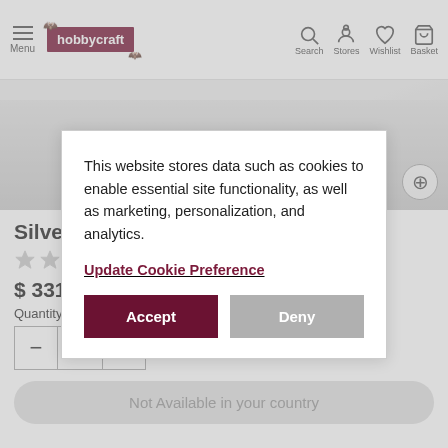Menu | hobbycraft | Search | Stores | Wishlist | Basket
[Figure (photo): Product image area showing partial view of a white sewing machine with SILVER brand label, zoom button visible]
Silver
★★
$ 331
Quantity
- 1 +
Not Available in your country
This website stores data such as cookies to enable essential site functionality, as well as marketing, personalization, and analytics.
Update Cookie Preference
Accept
Deny